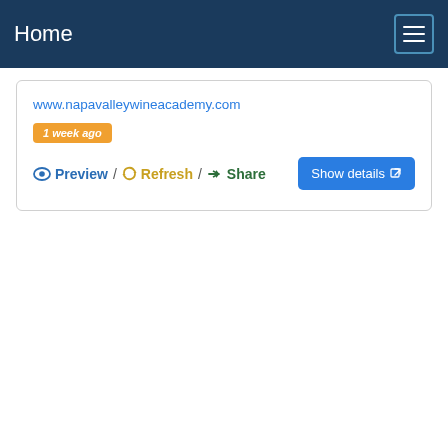Home
www.napavalleywineacademy.com
1 week ago
Preview / Refresh / Share
Show details